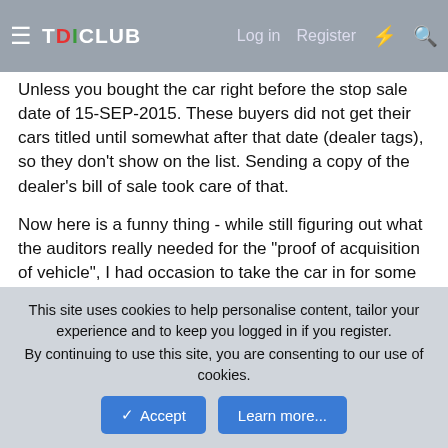TDICLUB — Log in  Register
Unless you bought the car right before the stop sale date of 15-SEP-2015. These buyers did not get their cars titled until somewhat after that date (dealer tags), so they don't show on the list. Sending a copy of the dealer's bill of sale took care of that.
Now here is a funny thing - while still figuring out what the auditors really needed for the "proof of acquisition of vehicle", I had occasion to take the car in for some service and mentioned that I was trying to get my claim cleared to get part 1 of the fix and was hoping to get it approved by the time my next oil change was due (a few hundred more miles).
Surprisingly, the service writer said he could get approval immediately over the phone, called the claim number, gave
This site uses cookies to help personalise content, tailor your experience and to keep you logged in if you register.
By continuing to use this site, you are consenting to our use of cookies.